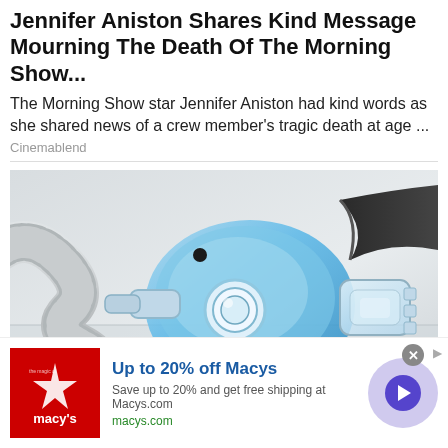Jennifer Aniston Shares Kind Message Mourning The Death Of The Morning Show...
The Morning Show star Jennifer Aniston had kind words as she shared news of a crew member's tragic death at age ...
Cinemablend
[Figure (photo): Close-up photo of a CPAP breathing mask with corrugated tubing and clear blue plastic mask components on a light background]
[Figure (other): Advertisement: Up to 20% off Macys. Save up to 20% and get free shipping at Macys.com. macys.com. Macy's red star logo.]